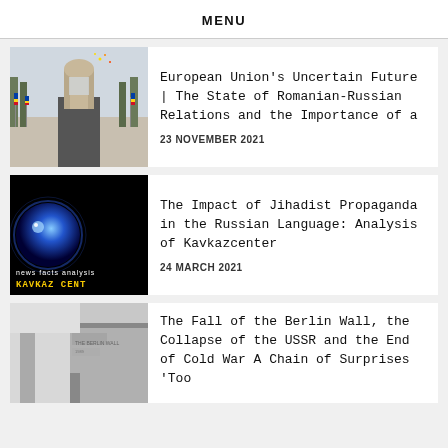MENU
European Union's Uncertain Future | The State of Romanian-Russian Relations and the Importance of a
23 NOVEMBER 2021
The Impact of Jihadist Propaganda in the Russian Language: Analysis of Kavkazcenter
24 MARCH 2021
The Fall of the Berlin Wall, the Collapse of the USSR and the End of Cold War A Chain of Surprises 'Too